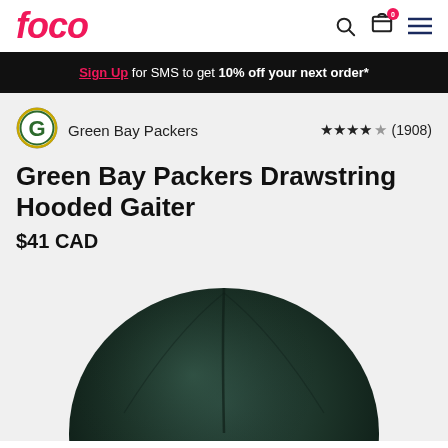FOCO
Sign Up for SMS to get 10% off your next order*
Green Bay Packers  ★★★★★ (1908)
Green Bay Packers Drawstring Hooded Gaiter
$41 CAD
[Figure (photo): Green Bay Packers Drawstring Hooded Gaiter product photo showing a dark green hooded gaiter from above]